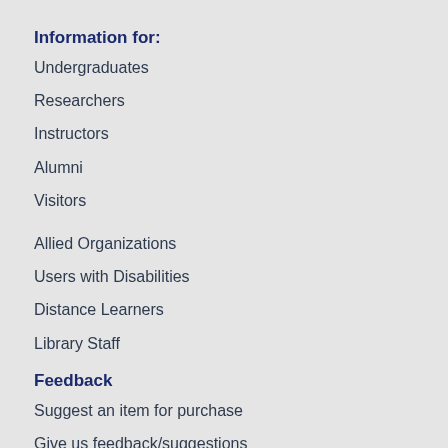Information for:
Undergraduates
Researchers
Instructors
Alumni
Visitors
Allied Organizations
Users with Disabilities
Distance Learners
Library Staff
Feedback
Suggest an item for purchase
Give us feedback/suggestions